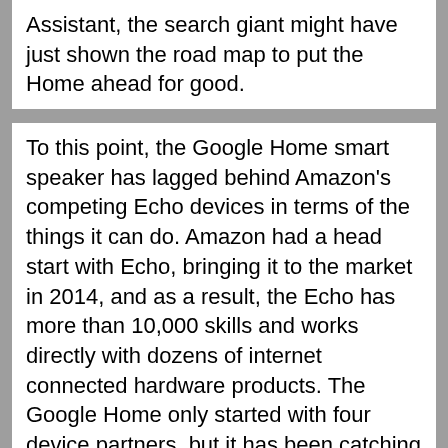Assistant, the search giant might have just shown the road map to put the Home ahead for good.
To this point, the Google Home smart speaker has lagged behind Amazon's competing Echo devices in terms of the things it can do. Amazon had a head start with Echo, bringing it to the market in 2014, and as a result, the Echo has more than 10,000 skills and works directly with dozens of internet connected hardware products. The Google Home only started with four device partners, but it has been catching up.
Since the Home speaker debuted last year, Google has quietly added and improved on a number of features -- flexible voice commands for controlling connected household devices, conversational recipe instructions in the kitchen, and personal assistance tied to your Google Calendar and Google Maps account. At its Google I/O developer's conference in Mountain View, California, Google added abilities that will be hard for Amazon to match, and announced better versions of a couple of